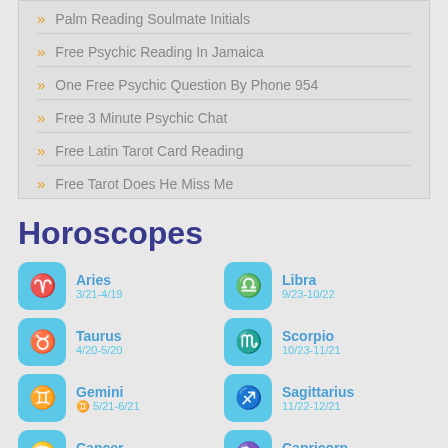Palm Reading Soulmate Initials
Free Psychic Reading In Jamaica
One Free Psychic Question By Phone 954
Free 3 Minute Psychic Chat
Free Latin Tarot Card Reading
Free Tarot Does He Miss Me
Horoscopes
Aries 3/21-4/19
Libra 9/23-10/22
Taurus 4/20-5/20
Scorpio 10/23-11/21
Gemini ♊ 5/21-6/21
Sagittarius 11/22-12/21
Cancer 6/22-7/22
Capricorn 12/22-1/19